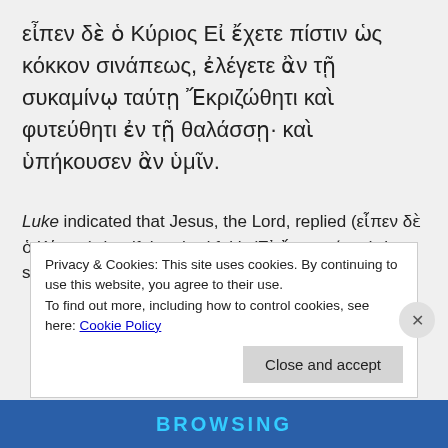εἶπεν δὲ ὁ Κύριος Εἰ ἔχετε πίστιν ὡς κόκκον σινάπεως, ἐλέγετε ἂν τῇ συκαμίνῳ ταύτῃ Ἔκριζώθητι καὶ φυτεύθητι ἐν τῇ θαλάσσῃ· καὶ ὑπήκουσεν ἂν ὑμῖν.
Luke indicated that Jesus, the Lord, replied (εἶπεν δὲ ὁ Κύριος) that if they had faith (Εἰ ἔχετε πίστιν) the size of a mustard seed (ὡς κόκκον σινάπεως), they
Privacy & Cookies: This site uses cookies. By continuing to use this website, you agree to their use.
To find out more, including how to control cookies, see here: Cookie Policy